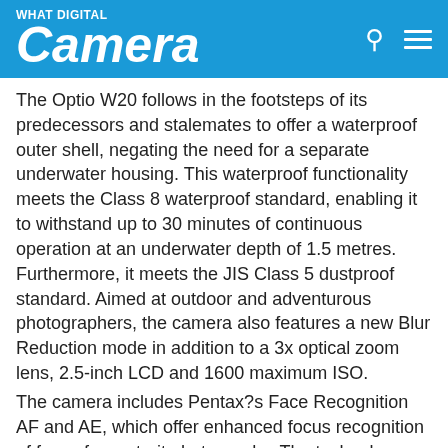What Digital Camera
The Optio W20 follows in the footsteps of its predecessors and stalemates to offer a waterproof outer shell, negating the need for a separate underwater housing. This waterproof functionality meets the Class 8 waterproof standard, enabling it to withstand up to 30 minutes of continuous operation at an underwater depth of 1.5 metres. Furthermore, it meets the JIS Class 5 dustproof standard. Aimed at outdoor and adventurous photographers, the camera also features a new Blur Reduction mode in addition to a 3x optical zoom lens, 2.5-inch LCD and 1600 maximum ISO.
The camera includes Pentax?s Face Recognition AF and AE, which offer enhanced focus recognition of faces for portrait photography. The technology promises to detect the position of the subject's face anywhere in the photo frame and then adjust the focus and exposure for the detected position. A further auto-tracking AF feature claims the ability to continuously focus on action of unpredictable subjects.